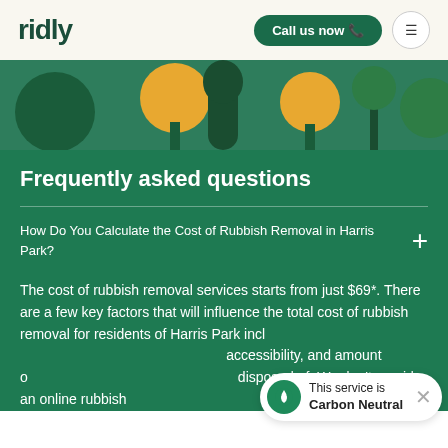ridly | Call us now
[Figure (illustration): Illustration of stylized trees in green and orange/yellow on a dark green background banner]
Frequently asked questions
How Do You Calculate the Cost of Rubbish Removal in Harris Park?
The cost of rubbish removal services starts from just $69*. There are a few key factors that will influence the total cost of rubbish removal for residents of Harris Park incl... accessibility, and amount o... disposed of. We don't provide an online rubbish...
This service is Carbon Neutral